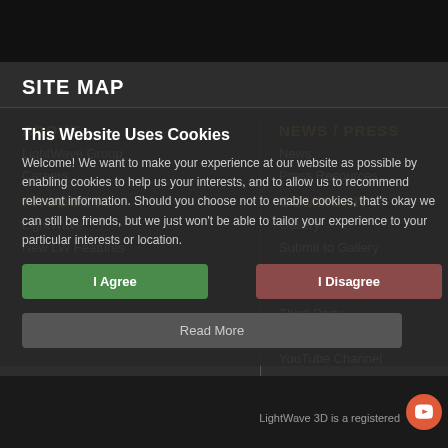SITE MAP
ABOUT
LightWave Group
Careers
PRODUCTS
LightWave
New LW Features
ChronoSculpt
NevronMotion
NEWS / PRESS
News
Press Resources
COMMUNITY
Gallery
Submit to Gallery
Newsletters
Assets : Plugins
Third-Party
Forums
YouTube Channel
This Website Uses Cookies
Welcome! We want to make your experience at our website as possible by enabling cookies to help us your interests, and to allow us to recommend relevant information. Should you choose not to enable cookies, that's okay we can still be friends, but we just won't be able to tailor your experience to your particular interests or location.
I Agree
I Disagree
Read More
LightWave 3D is a registered